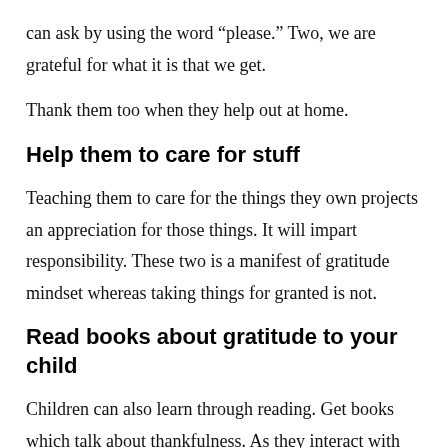can ask by using the word “please.” Two, we are grateful for what it is that we get.
Thank them too when they help out at home.
Help them to care for stuff
Teaching them to care for the things they own projects an appreciation for those things. It will impart responsibility. These two is a manifest of gratitude mindset whereas taking things for granted is not.
Read books about gratitude to your child
Children can also learn through reading. Get books which talk about thankfulness. As they interact with characters and experience different situations on gratitude through a book, it